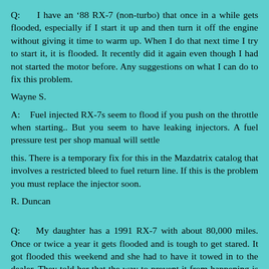Q:     I have an ‘88 RX-7 (non-turbo) that once in a while gets flooded, especially if I start it up and then turn it off the engine without giving it time to warm up. When I do that next time I try to start it, it is flooded. It recently did it again even though I had not started the motor before. Any suggestions on what I can do to fix this problem.
Wayne S.
A:     Fuel injected RX-7s seem to flood if you push on the throttle when starting.. But you seem to have leaking injectors. A fuel pressure test per shop manual will settle
this. There is a temporary fix for this in the Mazdatrix catalog that involves a restricted bleed to fuel return line. If this is the problem you must replace the injector soon.
R. Duncan
Q:     My daughter has a 1991 RX-7 with about 80,000 miles. Once or twice a year it gets flooded and is tough to get stared. It got flooded this weekend and she had to have it towed in to the dealer. They told her that the way to prevent it from happening is to never turn it off with a cold engine. This time she just moved it in the